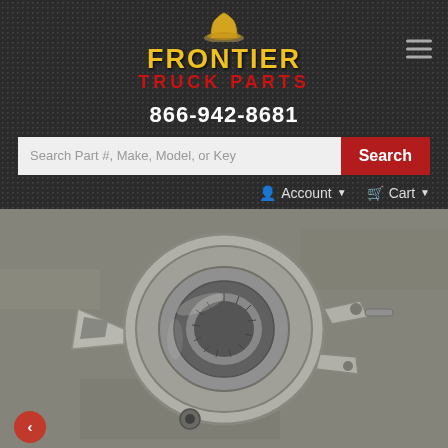[Figure (logo): Frontier Truck Parts logo with cowboy hat icon, yellow stylized text 'FRONTIER' and red text 'TRUCK PARTS']
866-942-8681
Search Part #, Make, Model, or Keyword
Account
Cart
[Figure (photo): A metal truck part (appears to be a steering knuckle or spindle component) photographed on a concrete surface, showing silver/grey metallic finish with circular splined center and mounting brackets]
Inter... Brake Check/Adj...